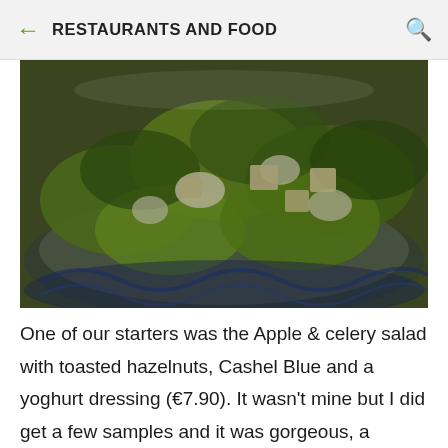RESTAURANTS AND FOOD
[Figure (photo): A salad with green lettuce leaves, white cheese cubes, and creamy dressing served on a blue and white decorative plate]
One of our starters was the Apple & celery salad with toasted hazelnuts, Cashel Blue and a yoghurt dressing (€7.90). It wasn't mine but I did get a few samples and it was gorgeous, a brilliant combination of textures and flavours, really well